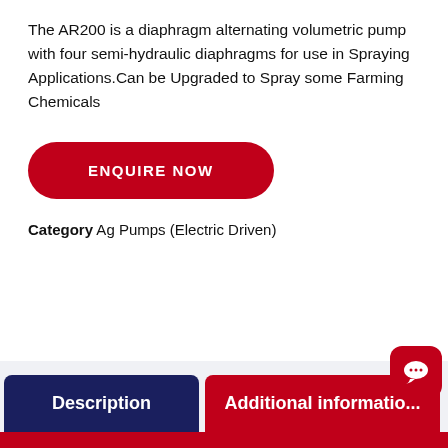The AR200 is a diaphragm alternating volumetric pump with four semi-hydraulic diaphragms for use in Spraying Applications.Can be Upgraded to Spray some Farming Chemicals
[Figure (other): Red rounded rectangle button with white bold uppercase text 'ENQUIRE NOW']
Category Ag Pumps (Electric Driven)
[Figure (other): Bottom navigation tabs: dark navy 'Description' tab and red 'Additional information' tab with chat bubble icon]